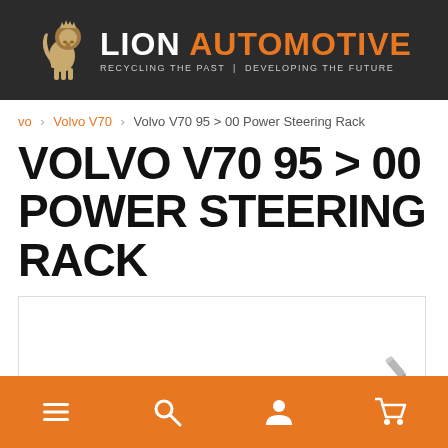LION AUTOMOTIVE — RECYCLING THE PAST | DEVELOPING THE FUTURE
vo > Volvo V70 > Volvo V70 95 > 00 Power Steering Rack
VOLVO V70 95 > 00 POWER STEERING RACK
[Figure (photo): Product image placeholder box with a pencil/edit icon in bottom right corner]
Navigation bar with menu, search, account, and cart icons